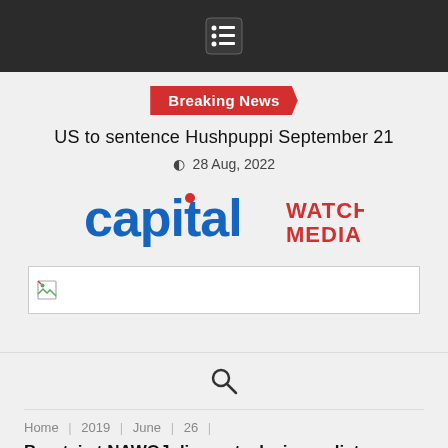Navigation menu icon
Breaking News
US to sentence Hushpuppi September 21
28 Aug, 2022
[Figure (logo): Capital Watch Media logo with 'capital' in blue lowercase and 'WATCH MEDIA' in red uppercase]
[Figure (photo): Broken image placeholder]
[Figure (other): Search icon (magnifying glass)]
Home | 2019 | June | 26 |
Buratai at NAWOJ dinner, tasks journalists on patriotism